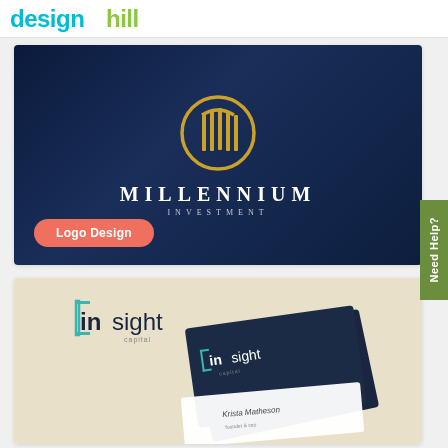designhill
[Figure (logo): Millennium Investment logo design — dark navy background with gold circular geometric mark and serif text 'MILLENNIUM INVESTMENT'. Coral/salmon colored 'Logo Design' pill button in lower left.]
[Figure (photo): Insight Capital logo and business card mockup — beige/tan background showing the insight capital logo (teal square bracket letter forms) and stacked business cards with the logo, including a card with 'Krista Matheson' name.]